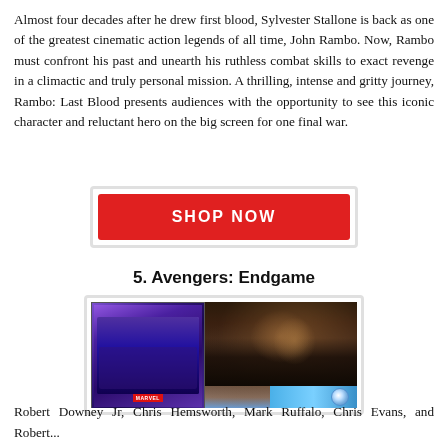Almost four decades after he drew first blood, Sylvester Stallone is back as one of the greatest cinematic action legends of all time, John Rambo. Now, Rambo must confront his past and unearth his ruthless combat skills to exact revenge in a climactic and truly personal mission. A thrilling, intense and gritty journey, Rambo: Last Blood presents audiences with the opportunity to see this iconic character and reluctant hero on the big screen for one final war.
[Figure (other): Red SHOP NOW button with grey border]
5. Avengers: Endgame
[Figure (photo): Avengers: Endgame Blu-ray product image showing DVD cover on left and movie scene with crowd on right, with Blu-ray logo stripe at bottom right]
Robert Downey Jr, Chris Hemsworth, Mark Ruffalo, Chris Evans, and Robert...